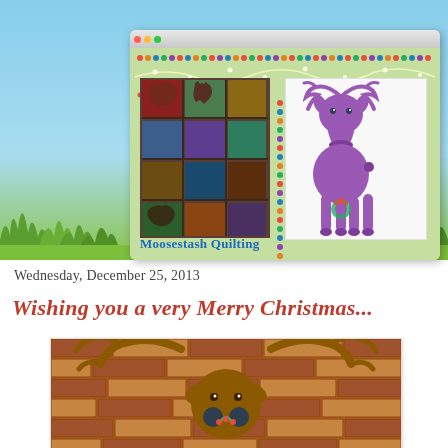[Figure (screenshot): Browser screenshot of Moosestash Quilting website showing a quilt photo collage on the left and a purple moose illustration on the right, with the site title 'Moosestash Quilting' at the bottom]
Wednesday, December 25, 2013
Wishing you a very Merry Christmas...
[Figure (photo): Photo of decorative reindeer antlers and head mounted on a brick wall, appearing to be a Christmas decoration]